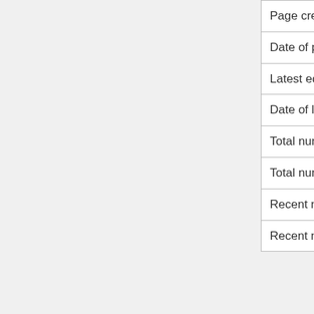|  |  |
| --- | --- |
| Page creator | Admin (talk | contribs) |
| Date of page creation | 11:10, 29 December 2019 |
| Latest editor | Admin (talk | contribs) |
| Date of latest edit | 17:32, 1 January 2020 |
| Total number of edits | 5 |
| Total number of distinct authors | 1 |
| Recent number of edits (within past 90 days) | 0 |
| Recent number of distinct authors | 0 |